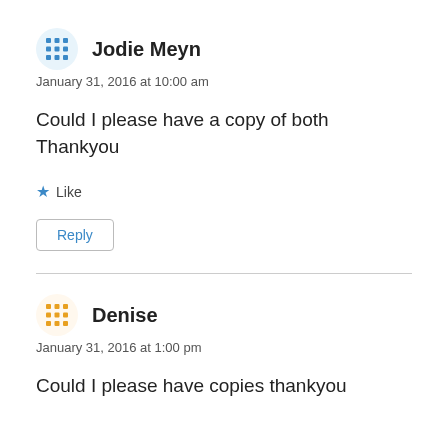Jodie Meyn
January 31, 2016 at 10:00 am
Could I please have a copy of both Thankyou
Like
Reply
Denise
January 31, 2016 at 1:00 pm
Could I please have copies thankyou